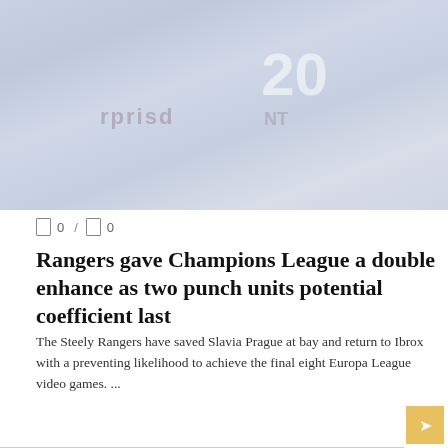[Figure (photo): Faded photo of football players in blue jerseys on a pitch, with jersey number 20 visible and sponsor text on shirts]
0 / 0
Rangers gave Champions League a double enhance as two punch units potential coefficient last
The Steely Rangers have saved Slavia Prague at bay and return to Ibrox with a preventing likelihood to achieve the final eight Europa League video games. ...
READ MORE